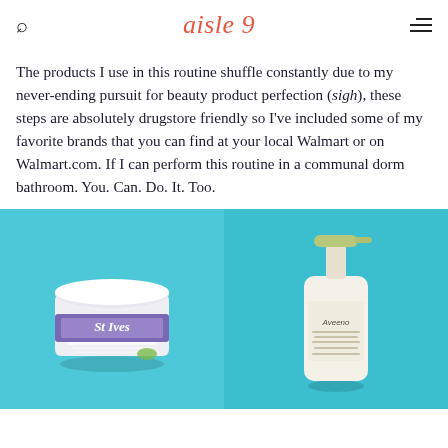aisle 9
The products I use in this routine shuffle constantly due to my never-ending pursuit for beauty product perfection (sigh), these steps are absolutely drugstore friendly so I've included some of my favorite brands that you can find at your local Walmart or on Walmart.com. If I can perform this routine in a communal dorm bathroom. You. Can. Do. It. Too.
[Figure (photo): Two product photos side by side on a cyan/teal background. Left: St. Ives cream jar. Right: Aveeno lotion bottle with pump.]